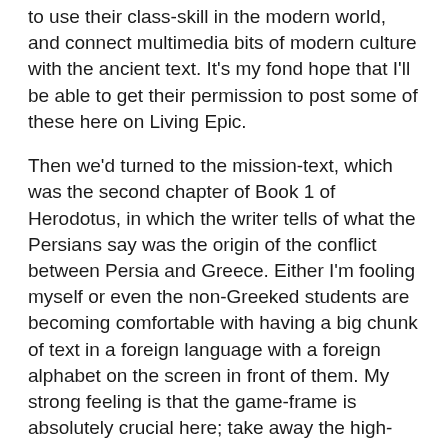to use their class-skill in the modern world, and connect multimedia bits of modern culture with the ancient text. It's my fond hope that I'll be able to get their permission to post some of these here on Living Epic.
Then we'd turned to the mission-text, which was the second chapter of Book 1 of Herodotus, in which the writer tells of what the Persians say was the origin of the conflict between Persia and Greece. Either I'm fooling myself or even the non-Greeked students are becoming comfortable with having a big chunk of text in a foreign language with a foreign alphabet on the screen in front of them. My strong feeling is that the game-frame is absolutely crucial here; take away the high-stakes grade-related nature of complex classwork and suddenly everything comes naturally. I wish I had some kind of data to back this assertion up, but I've felt for several years that the biggest problem in my teaching was that I haven't had a way to present complex critical analysis without scaring the clear majority of my students into the disengaged torpor of "This is too hard to understand—I hope he'll just tell us what we need to know for the test." My previous solution, which was to say 1) there's no test and 2)